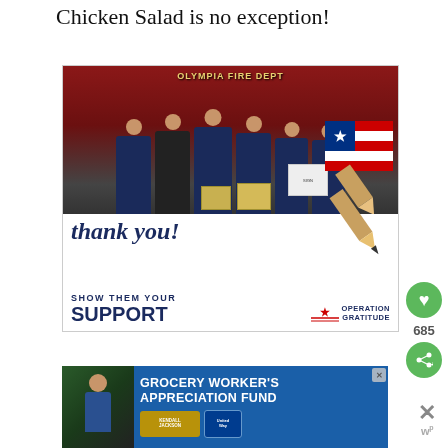Chicken Salad is no exception!
[Figure (photo): Operation Gratitude advertisement showing firefighters from Olympia Fire Department posing with boxes, with 'thank you!' handwritten text, a patriotic pencil graphic (red/white/blue), and 'SHOW THEM YOUR SUPPORT' text with Operation Gratitude logo]
[Figure (photo): Grocery Worker's Appreciation Fund advertisement in blue, featuring a grocery worker photo, Kendall-Jackson wine logo, and United Way logo]